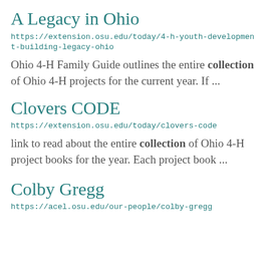A Legacy in Ohio
https://extension.osu.edu/today/4-h-youth-development-building-legacy-ohio
Ohio 4-H Family Guide outlines the entire collection of Ohio 4-H projects for the current year. If ...
Clovers CODE
https://extension.osu.edu/today/clovers-code
link to read about the entire collection of Ohio 4-H project books for the year. Each project book ...
Colby Gregg
https://acel.osu.edu/our-people/colby-gregg